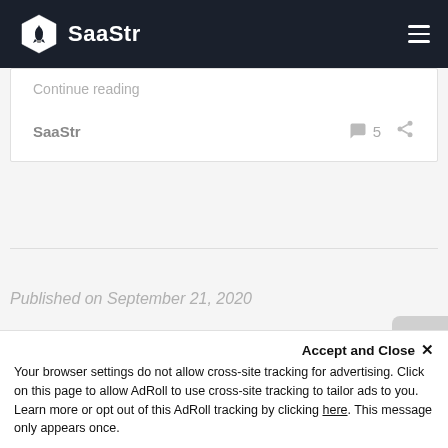SaaStr
Continue reading
SaaStr   5
Published on September 21, 2020
Accept and Close ×
Your browser settings do not allow cross-site tracking for advertising. Click on this page to allow AdRoll to use cross-site tracking to tailor ads to you. Learn more or opt out of this AdRoll tracking by clicking here. This message only appears once.